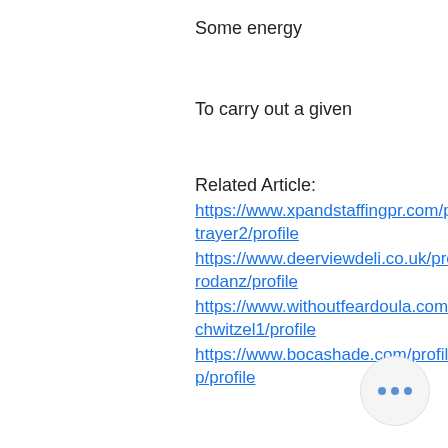Some energy
To carry out a given
Related Article:
https://www.xpandstaffingpr.com/profile/hejnytrayer2/profile
https://www.deerviewdeli.co.uk/profile/lewisprodanz/profile
https://www.withoutfeardoula.com/profile/beschwitzel1/profile
https://www.bocashade.com/profile/juelfshutti p/profile